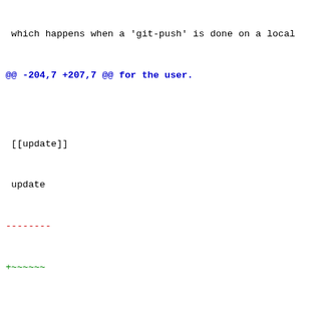which happens when a 'git-push' is done on a local
@@ -204,7 +207,7 @@ for the user.
[[update]]
update
-------
+~~~~~~
This hook is invoked by 'git-receive-pack' on the
which happens when a 'git-push' is done on a local
@@ -247,7 +250,7 @@ unannotated tags to be pushed.
[[post-receive]]
post-receive
-------------
+~~~~~~~~~~~~
This hook is invoked by 'git-receive-pack' on the
which happens when a 'git-push' is done on a local
@@ -277,7 +280,7 @@ emails.
[[post-update]]
post-update
-----------
+~~~~~~~~~~
This hook is invoked by 'git-receive-pack' on the
which happens when a 'git-push' is done on a local
@@ -307,8 +310,37 @@ Both standard output and stand
'git-send-pack' on the other end, so you can simpl